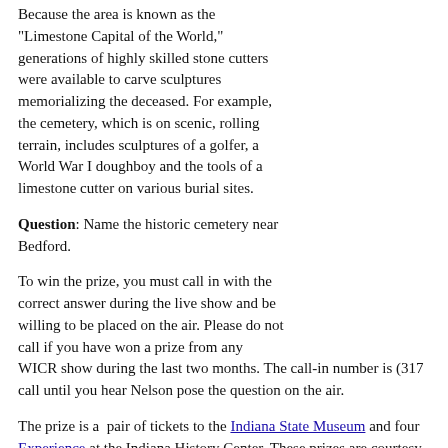Because the area is known as the "Limestone Capital of the World," generations of highly skilled stone cutters were available to carve sculptures memorializing the deceased. For example, the cemetery, which is on scenic, rolling terrain, includes sculptures of a golfer, a World War I doughboy and the tools of a limestone cutter on various burial sites.
Question: Name the historic cemetery near Bedford.
To win the prize, you must call in with the correct answer during the live show and be willing to be placed on the air. Please do not call if you have won a prize from any WICR show during the last two months. The call-in number is (317... call until you hear Nelson pose the question on the air.
The prize is a pair of tickets to the Indiana State Museum and four Experience at the Indiana History Center. These prizes are courtesy
Your Hoosier History Live! team,